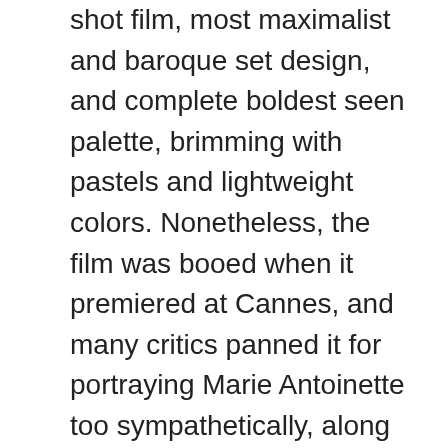shot film, most maximalist and baroque set design, and complete boldest seen palette, brimming with pastels and lightweight colors. Nonetheless, the film was booed when it premiered at Cannes, and many critics panned it for portraying Marie Antoinette too sympathetically, along with its anachronistic technique to vital historic events.

Nonetheless, this stylistic anachronism is strictly what makes Marie Antoinette such a singular masterpiece. Coppola truly makes the interval fashion her private, re-imagining the historic decide as a postmodern socialite with